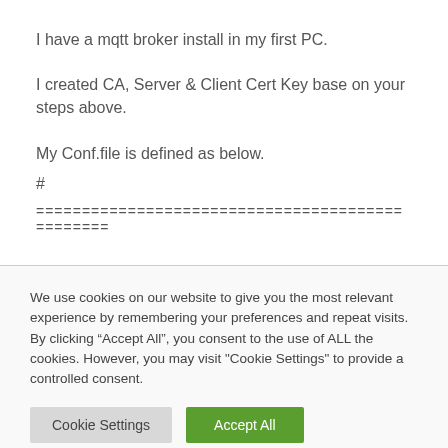I have a mqtt broker install in my first PC.
I created CA, Server & Client Cert Key base on your steps above.
My Conf.file is defined as below.
#
================================================
We use cookies on our website to give you the most relevant experience by remembering your preferences and repeat visits. By clicking “Accept All”, you consent to the use of ALL the cookies. However, you may visit "Cookie Settings" to provide a controlled consent.